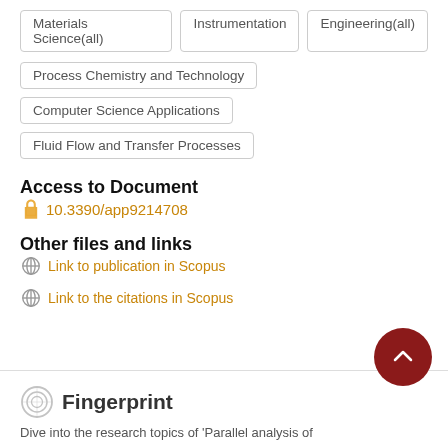Materials Science(all)
Instrumentation
Engineering(all)
Process Chemistry and Technology
Computer Science Applications
Fluid Flow and Transfer Processes
Access to Document
10.3390/app9214708
Other files and links
Link to publication in Scopus
Link to the citations in Scopus
Fingerprint
Dive into the research topics of 'Parallel analysis of